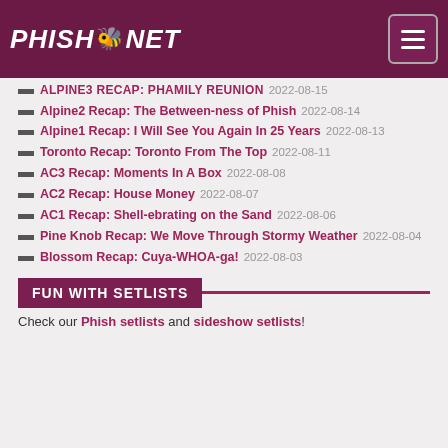PHISH.NET
ALPINE3 RECAP: PHAMILY REUNION 2022-08-15
Alpine2 Recap: The Between-ness of Phish 2022-08-14
Alpine1 Recap: I Will See You Again In 25 Years 2022-08-13
Toronto Recap: Toronto From The Top 2022-08-11
AC3 Recap: Moments In A Box 2022-08-08
AC2 Recap: House Money 2022-08-07
AC1 Recap: Shell-ebrating on the Sand 2022-08-06
Pine Knob Recap: We Move Through Stormy Weather 2022-08-04
Blossom Recap: Cuya-WHOA-ga! 2022-08-03
FUN WITH SETLISTS
Check our Phish setlists and sideshow setlists!